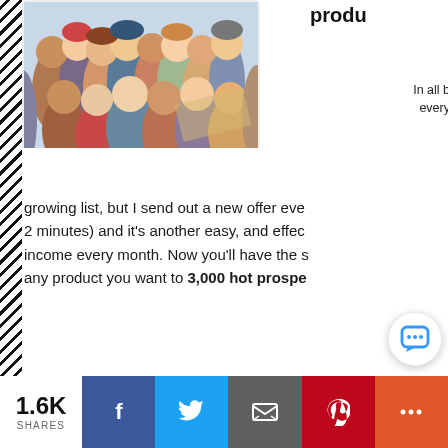[Figure (photo): Group photo of diverse people, cropped at top of page]
produ
In all b every
growing list, but I send out a new offer eve 2 minutes) and it's another easy, and effec income every month. Now you'll have the s any product you want to 3,000 hot prospe
[Figure (infographic): Social share bar with 1.6K shares, Facebook, Twitter, Email, Pinterest, and More buttons]
1.6K SHARES